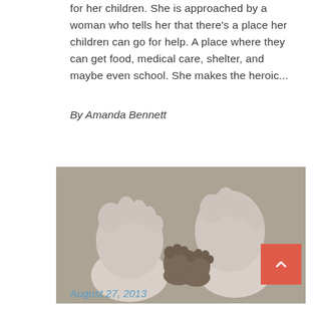for her children. She is approached by a woman who tells her that there's a place her children can go for help. A place where they can get food, medical care, shelter, and maybe even school. She makes the heroic...
By Amanda Bennett
[Figure (photo): Black and white photograph showing adult feet (two large feet) and a small child's feet between them, on a sandy/textured surface]
August 27, 2013